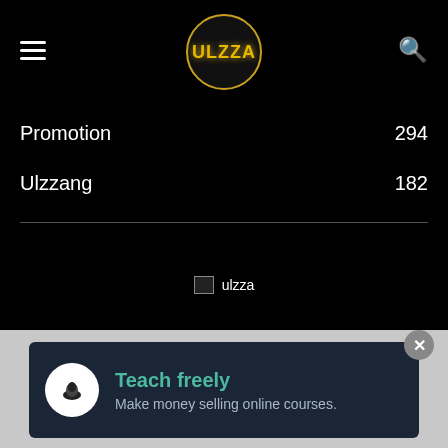ULZZA
Promotion 294
Ulzzang 182
[Figure (logo): ulzza broken image placeholder]
ABOUT US
Ulzza is a k-pop blogger community to bring you the latest
[Figure (infographic): Advertisement banner: Teach freely - Make money selling online courses.]